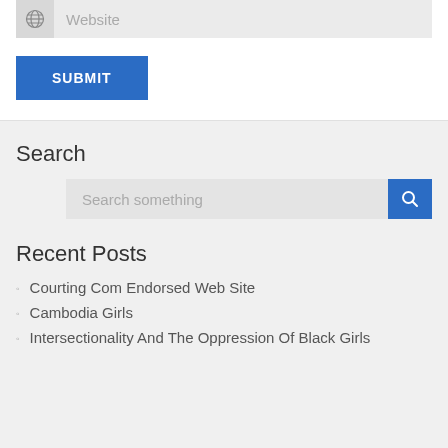[Figure (screenshot): Website input field with globe icon and gray background]
[Figure (screenshot): Blue SUBMIT button]
Search
[Figure (screenshot): Search input box with 'Search something' placeholder and blue search button]
Recent Posts
Courting Com Endorsed Web Site
Cambodia Girls
Intersectionality And The Oppression Of Black Girls